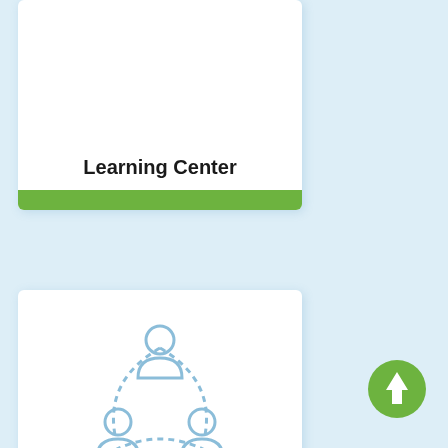[Figure (illustration): Card with 'Learning Center' text and green bottom bar]
Learning Center
[Figure (illustration): Card with three connected person icons in a network/group formation, representing social skills groups]
Social Skills Groups
[Figure (other): Green circular button with upward arrow icon in bottom right corner]